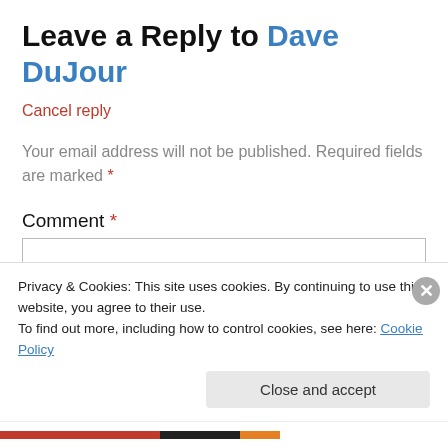Leave a Reply to Dave DuJour
Cancel reply
Your email address will not be published. Required fields are marked *
Comment *
[Figure (screenshot): Empty comment text area input box with border]
Privacy & Cookies: This site uses cookies. By continuing to use this website, you agree to their use.
To find out more, including how to control cookies, see here: Cookie Policy
Close and accept